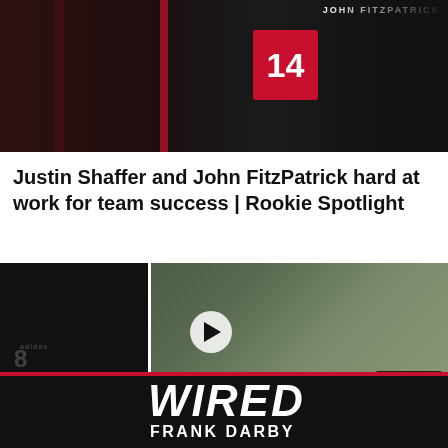[Figure (photo): Two Atlanta Falcons players in black and red jerseys, one labeled JOHN FITZPATRICK, one wearing #14, standing side by side during training camp]
Justin Shaffer and John FitzPatrick hard at work for team success | Rookie Spotlight
[Figure (screenshot): Video thumbnail for 'Wired: Frank Darby' - shows Frank Darby celebrating/laughing with teammates, player in Falcons uniform on left, AT&T sponsor logo, red stripe, WIRED text and FRANK DARBY name on dark bar at bottom]